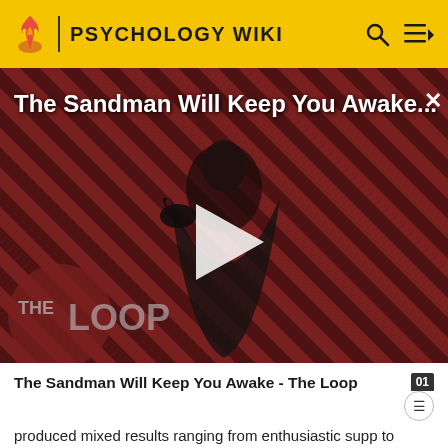PSYCHOLOGY WIKI
[Figure (screenshot): Video thumbnail for 'The Sandman Will Keep You Awake...' showing a dark-cloaked figure against a red and black diagonal striped background with 'THE LOOP' logo overlay and a play button in the center.]
The Sandman Will Keep You Awake - The Loop
produced mixed results ranging from enthusiastic supp to refutation and rejection.[26]
An alternative perspective, Renzulli's three-rings